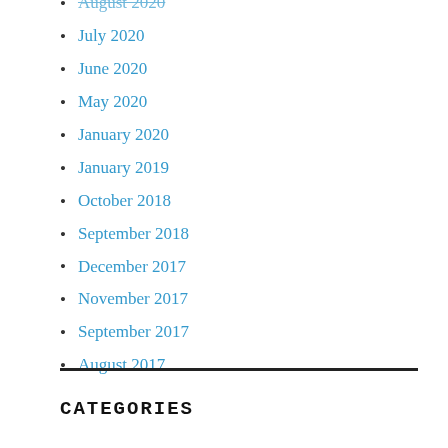August 2020
July 2020
June 2020
May 2020
January 2020
January 2019
October 2018
September 2018
December 2017
November 2017
September 2017
August 2017
CATEGORIES